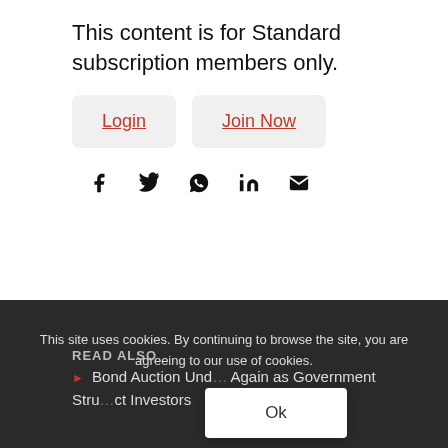This content is for Standard subscription members only.
Login | Join Now
[Figure (other): Social share icons: Facebook, Twitter, WhatsApp, LinkedIn, Email]
This site uses cookies. By continuing to browse the site, you are agreeing to our use of cookies.
READ ALSO
Bond Auction Und... Again as Government Stru...ct Investors
Ok